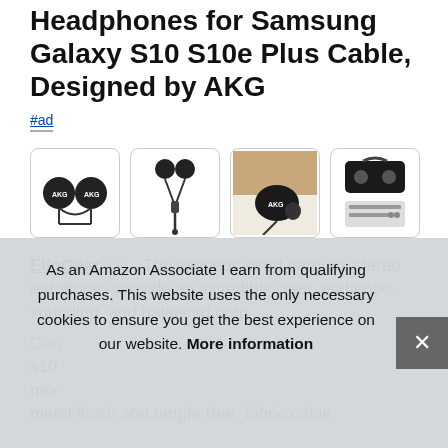Headphones for Samsung Galaxy S10 S10e Plus Cable, Designed by AKG
#ad
[Figure (photo): Four product images of AKG earphones/earbuds for Samsung Galaxy S10]
ElloGear #ad - The ellogear wired earbuds stereo earphones provide an incredibly clear, authentic-sounding, and balanced outp...
Con... s10... mor... metal finish and tangle-free, fabric cable
As an Amazon Associate I earn from qualifying purchases. This website uses the only necessary cookies to ensure you get the best experience on our website. More information